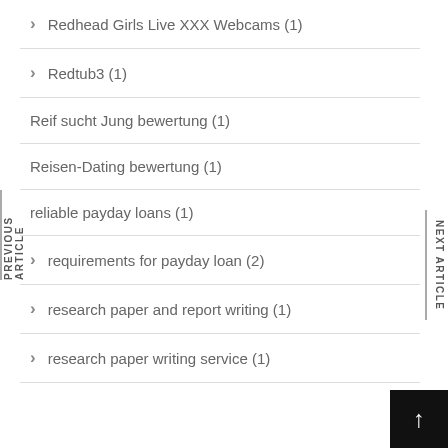Redhead Girls Live XXX Webcams (1)
Redtub3 (1)
Reif sucht Jung bewertung (1)
Reisen-Dating bewertung (1)
reliable payday loans (1)
requirements for payday loan (2)
research paper and report writing (1)
research paper writing service (1)